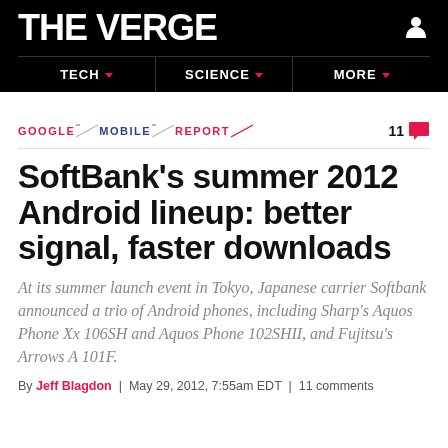THE VERGE
TECH | SCIENCE | MORE
GOOGLE \ MOBILE \ REPORT   11 [comment]
SoftBank's summer 2012 Android lineup: better signal, faster downloads
At its summer launch event in Tokyo, Japanese carrier Softbank announced a trio of Android phones, including Sharp's Aquos Phone Xx 106SH and Aquos Phone 102SHII, and Fujitsu's Arrows A 101F.
By Jeff Blagdon | May 29, 2012, 7:55am EDT | 11 comments